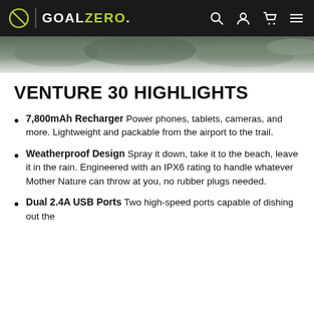GOAL ZERO (navigation header with search, account, cart, and menu icons)
[Figure (photo): Hero image strip showing a rocky/snowy outdoor landscape, partially visible]
VENTURE 30 HIGHLIGHTS
7,800mAh Recharger — Power phones, tablets, cameras, and more. Lightweight and packable from the airport to the trail.
Weatherproof Design — Spray it down, take it to the beach, leave it in the rain. Engineered with an IPX6 rating to handle whatever Mother Nature can throw at you, no rubber plugs needed.
Dual 2.4A USB Ports — Two high-speed ports capable of dishing out the